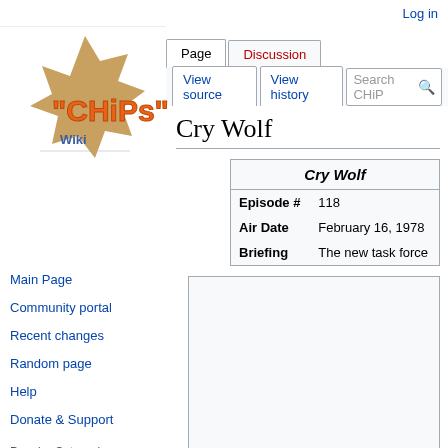Log in
[Figure (logo): CHiPS Wiki logo with orange stylized text on star badge]
Page  |  Discussion  |  View source  |  View history  |  Search CHiP
Cry Wolf
| Cry Wolf |  |
| --- | --- |
| Episode # | 118 |
| Air Date | February 16, 1978 |
| Briefing | The new task force |
Main Page
Community portal
Recent changes
Random page
Help
Donate & Support
Popular Categories
Episodes
Characters
Cast
Crew
Tools